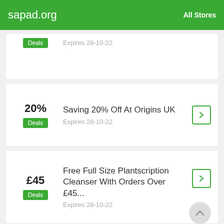sapad.org   All Stores
Deals  Expires 28-10-22
20%  Deals  Saving 20% Off At Origins UK  Expires 28-10-22
£45  Deals  Free Full Size Plantscription Cleanser With Orders Over £45...  Expires 28-10-22
Sales  Free Gift With Eligible Purchase At Origin...